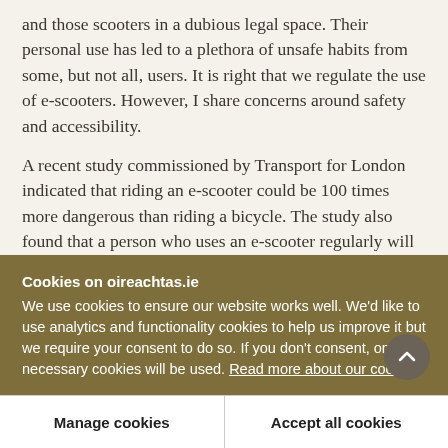and those scooters in a dubious legal space. Their personal use has led to a plethora of unsafe habits from some, but not all, users. It is right that we regulate the use of e-scooters. However, I share concerns around safety and accessibility.
A recent study commissioned by Transport for London indicated that riding an e-scooter could be 100 times more dangerous than riding a bicycle. The study also found that a person who uses an e-scooter regularly will on average require medical treatment
Cookies on oireachtas.ie
We use cookies to ensure our website works well. We'd like to use analytics and functionality cookies to help us improve it but we require your consent to do so. If you don't consent, only necessary cookies will be used. Read more about our cookies
Manage cookies
Accept all cookies